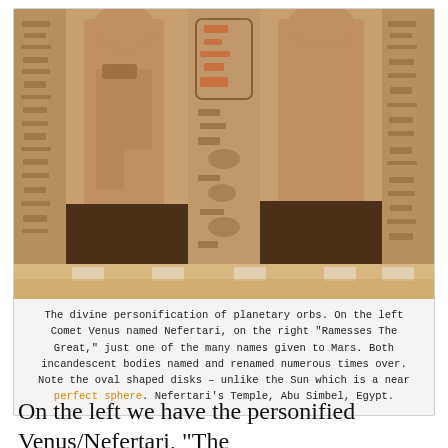[Figure (photo): Ancient Egyptian stone statues at Nefertari's Temple, Abu Simbel, Egypt. Two large standing figures with hieroglyphic carvings on pillars between and beside them. The statues represent Comet Venus named Nefertari (left) and Ramesses The Great representing Mars (right). The lower portions of the statues are darkened.]
The divine personification of planetary orbs. On the left Comet Venus named Nefertari, on the right "Ramesses The Great," just one of the many names given to Mars. Both incandescent bodies named and renamed numerous times over. Note the oval shaped disks – unlike the Sun which is a near perfect sphere. Nefertari's Temple, Abu Simbel, Egypt.
On the left we have the personified Venus/Nefertari, "The